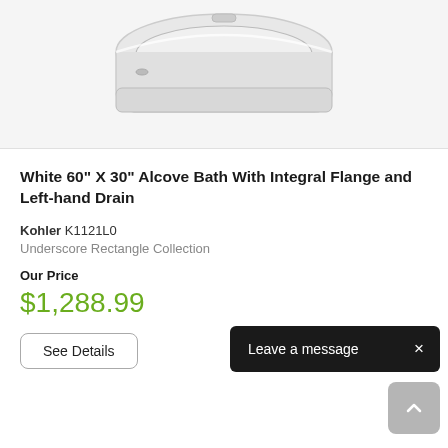[Figure (photo): White rectangular alcove bathtub viewed from a perspective angle, showing the tub interior and integral flange, on a light gray background.]
White 60" X 30" Alcove Bath With Integral Flange and Left-hand Drain
Kohler K1121L0
Underscore Rectangle Collection
Our Price
$1,288.99
See Details
Leave a message